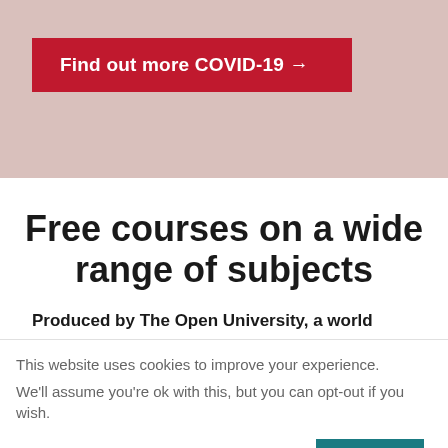[Figure (screenshot): Red banner button with text 'Find out more COVID-19 →' on a dusty pink/mauve background]
Free courses on a wide range of subjects
Produced by The Open University, a world
This website uses cookies to improve your experience.
We'll assume you're ok with this, but you can opt-out if you wish.
Cookie settings  ACCEPT